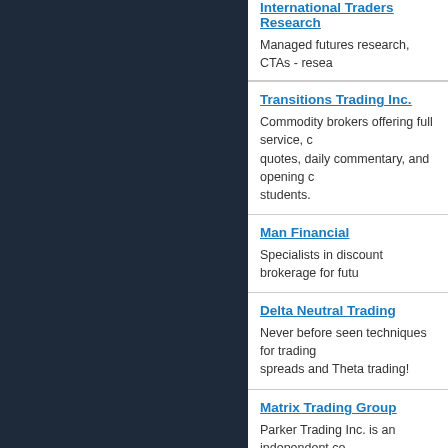International Traders Research
Managed futures research, CTAs - resea
Transitions Trading Inc.
Commodity brokers offering full service, quotes, daily commentary, and opening comments for students.
Man Financial
Specialists in discount brokerage for futu
Delta Neutral Trading
Never before seen techniques for trading spreads and Theta trading!
Matrix Trading Group
Parker Trading Inc. is an independent commodities futures and options.